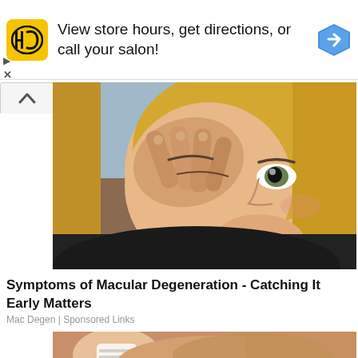[Figure (other): Advertisement banner with HC (Hair Club) yellow logo, text 'View store hours, get directions, or call your salon!', and a blue navigation arrow icon]
[Figure (photo): Blonde woman rubbing her eye with her fingers, appearing to be in discomfort, wearing a black top]
Symptoms of Macular Degeneration - Catching It Early Matters
Mac Degen | Sponsored Links
[Figure (photo): Close-up image of what appears to be skin or feet, partially visible at the bottom of the page]